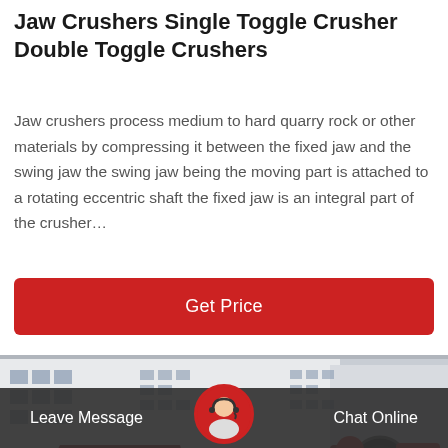Jaw Crushers Single Toggle Crusher Double Toggle Crushers
Jaw crushers process medium to hard quarry rock or other materials by compressing it between the fixed jaw and the swing jaw the swing jaw being the moving part is attached to a rotating eccentric shaft the fixed jaw is an integral part of the crusher…
[Figure (other): Red 'Get Price' button]
[Figure (photo): Industrial jaw crusher machinery in a factory setting, large red and yellow machines in front of a white industrial building]
Leave Message   Chat Online